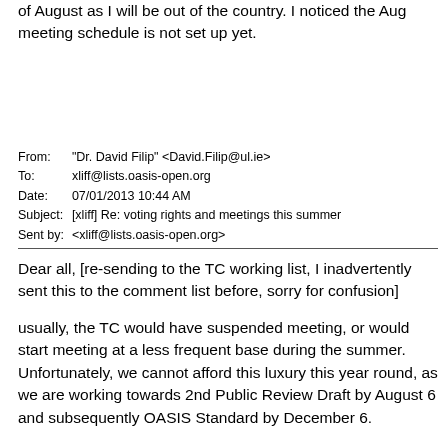Apologize in advance but I will not be able to attend the meetings in month of August as I will be out of the country. I noticed the Aug meeting schedule is not set up yet.
From: "Dr. David Filip" <David.Filip@ul.ie>
To: xliff@lists.oasis-open.org
Date: 07/01/2013 10:44 AM
Subject: [xliff] Re: voting rights and meetings this summer
Sent by: <xliff@lists.oasis-open.org>
Dear all, [re-sending to the TC working list, I inadvertently sent this to the comment list before, sorry for confusion]
usually, the TC would have suspended meeting, or would start meeting at a less frequent base during the summer. Unfortunately, we cannot afford this luxury this year round, as we are working towards 2nd Public Review Draft by August 6 and subsequently OASIS Standard by December 6.
Therefore, if you plan longer vacation, report yourself to Bryan and myself as on Leave of Absence rather than plain regrets (sending regrets is good manners, does NOT however help in